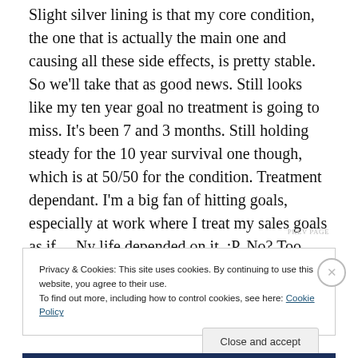Slight silver lining is that my core condition, the one that is actually the main one and causing all these side effects, is pretty stable. So we'll take that as good news. Still looks like my ten year goal no treatment is going to miss. It's been 7 and 3 months. Still holding steady for the 10 year survival one though, which is at 50/50 for the condition. Treatment dependant. I'm a big fan of hitting goals, especially at work where I treat my sales goals as if… Ny life depended on it. :P. No? Too soon?
Privacy & Cookies: This site uses cookies. By continuing to use this website, you agree to their use. To find out more, including how to control cookies, see here: Cookie Policy